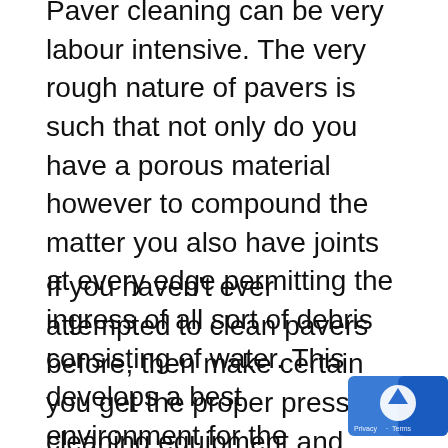Paver cleaning can be very labour intensive. The very rough nature of pavers is such that not only do you have a porous material however to compound the matter you also have joints at every edge permitting the ingress of all sort of debris consisting of water. This develops a best environment for the germination of not only algae however weeds entirely ruining the look of your beautiful paved driveway or entertaing location.
If you haven't ever attempted to clean pavers before, then make certain you get the proper pressure cleaning equipment and treatment for paver cleaning. If you do not, you will quickly learn that non-commercial pressure cleaners will not remove built-up dirt and grime or those terrible weeds effectively and if you don't utilize a sp treatment in conjunction with the pressure cleaning procedure you will find that the mo